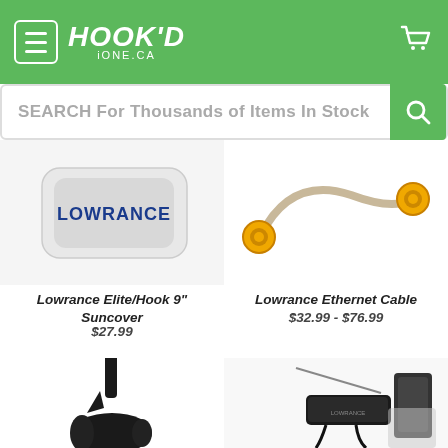[Figure (logo): Hook'd iONE.ca logo with menu icon and cart icon on green header background]
SEARCH For Thousands of Items In Stock
[Figure (photo): Lowrance Elite/Hook 9" Suncover product image]
[Figure (photo): Lowrance Ethernet Cable product image with orange connectors]
Lowrance Elite/Hook 9" Suncover
$27.99
Lowrance Ethernet Cable
$32.99 - $76.99
[Figure (photo): Black transducer/trolling motor product image]
[Figure (photo): Lowrance trolling motor mount product image]